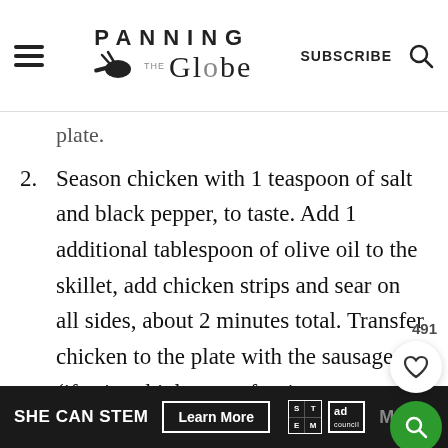PANNING THE Globe | SUBSCRIBE
plate.
2. Season chicken with 1 teaspoon of salt and black pepper, to taste. Add 1 additional tablespoon of olive oil to the skillet, add chicken strips and sear on all sides, about 2 minutes total. Transfer chicken to the plate with the sausages. (if using thighs, sear for 4
SHE CAN STEM  Learn More  S T E M  ad